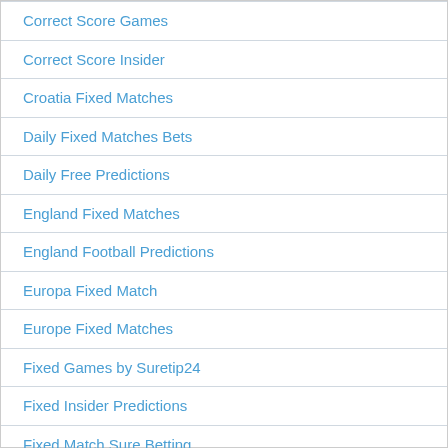Correct Score Games
Correct Score Insider
Croatia Fixed Matches
Daily Fixed Matches Bets
Daily Free Predictions
England Fixed Matches
England Football Predictions
Europa Fixed Match
Europe Fixed Matches
Fixed Games by Suretip24
Fixed Insider Predictions
Fixed Match Sure Betting
Fixed Matches
Fixed Matches by Suretip24
Fixed Matches England